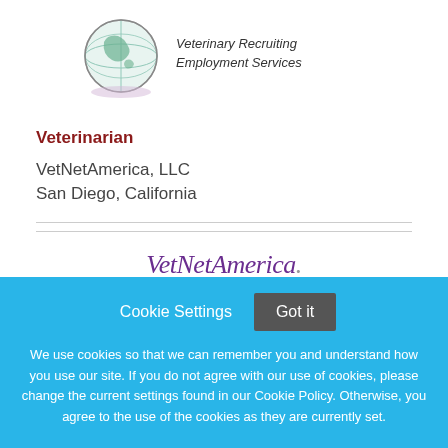[Figure (logo): Globe logo with 'Veterinary Recruiting Employment Services' text in italic]
Veterinarian
VetNetAmerica, LLC
San Diego, California
[Figure (logo): VetNetAmerica. logo in purple italic script]
Cookie Settings  Got it

We use cookies so that we can remember you and understand how you use our site. If you do not agree with our use of cookies, please change the current settings found in our Cookie Policy. Otherwise, you agree to the use of the cookies as they are currently set.